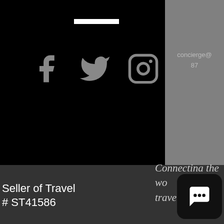[Figure (illustration): Black panel with white horizontal bar and three social media icons (Facebook, Twitter, Instagram) in gray, plus a gray panel on the right with partial email and phone number text]
concierge@
87
Seller of Travel
# ST41586
Connecting the wo
travel
[Figure (illustration): Chat/messaging app icon button - dark rounded square with white speech bubble icon]